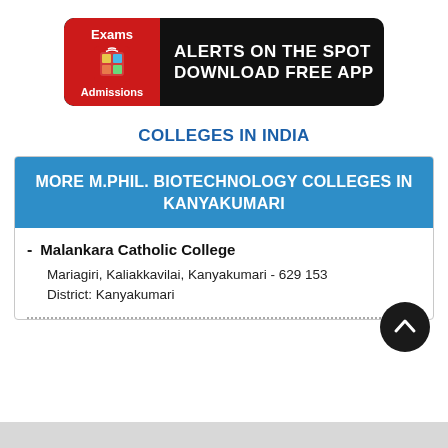[Figure (other): App download banner ad with red and black background. Left side red box with 'Exams' and 'Admissions' text and icon. Right side black box with text 'ALERTS ON THE SPOT DOWNLOAD FREE APP']
COLLEGES IN INDIA
MORE M.PHIL. BIOTECHNOLOGY COLLEGES IN KANYAKUMARI
Malankara Catholic College
Mariagiri, Kaliakkavilai, Kanyakumari - 629 153
District: Kanyakumari